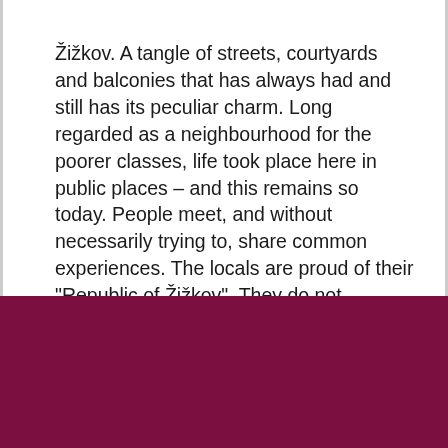Žižkov. A tangle of streets, courtyards and balconies that has always had and still has its peculiar charm. Long regarded as a neighbourhood for the poorer classes, life took place here in public places – and this remains so today. People meet, and without necessarily trying to, share common experiences. The locals are proud of their "Republic of Žižkov". They do not consider themselves Praguers but
Tyto webové stránky používají k poskytování služeb, personalizaci reklam a analýze návštěvnosti soubory cookie. Informace o tom, jak tyto webové stránky používáte, jsou sdíleny třetím stranám. Používáním těchto webových